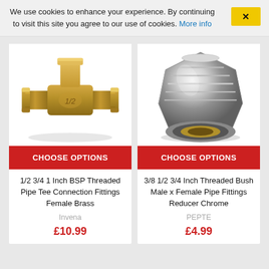We use cookies to enhance your experience. By continuing to visit this site you agree to our use of cookies. More info
[Figure (photo): Gold/brass colored T-shaped pipe fitting (tee connector) with BSP threaded ends, marked 1/2]
CHOOSE OPTIONS
1/2 3/4 1 Inch BSP Threaded Pipe Tee Connection Fittings Female Brass
Invena
£10.99
[Figure (photo): Shiny chrome/silver threaded pipe bush reducer fitting with male and female ends, large hexagonal shape]
CHOOSE OPTIONS
3/8 1/2 3/4 Inch Threaded Bush Male x Female Pipe Fittings Reducer Chrome
PEPTE
£4.99